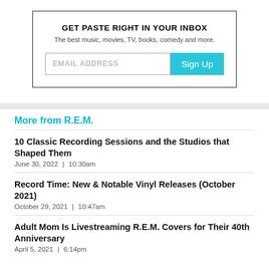GET PASTE RIGHT IN YOUR INBOX
The best music, movies, TV, books, comedy and more.
[Figure (screenshot): Email address input field with Sign Up button]
More from R.E.M.
10 Classic Recording Sessions and the Studios that Shaped Them
June 30, 2022  |  10:30am
Record Time: New & Notable Vinyl Releases (October 2021)
October 29, 2021  |  10:47am
Adult Mom Is Livestreaming R.E.M. Covers for Their 40th Anniversary
April 5, 2021  |  6:14pm